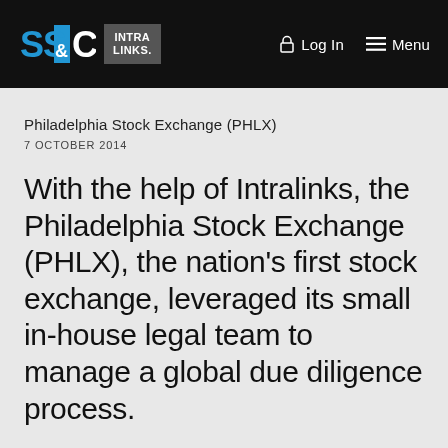[Figure (logo): SS&C Intralinks header navigation bar with SS&C blue logo, Intralinks grey box logo, Log In and Menu navigation items on black background]
Philadelphia Stock Exchange (PHLX)
7 OCTOBER 2014
With the help of Intralinks, the Philadelphia Stock Exchange (PHLX), the nation's first stock exchange, leveraged its small in-house legal team to manage a global due diligence process.